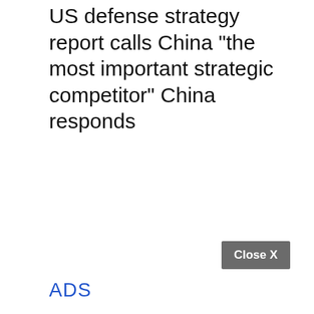US defense strategy report calls China "the most important strategic competitor" China responds
Close X
ADS